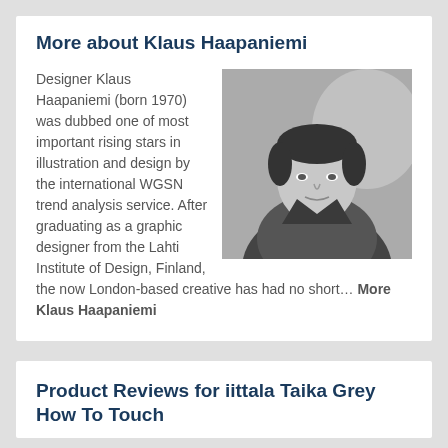More about Klaus Haapaniemi
[Figure (photo): Black and white portrait photo of Klaus Haapaniemi, a young man with short dark hair wearing a dark jacket, looking at the camera]
Designer Klaus Haapaniemi (born 1970) was dubbed one of most important rising stars in illustration and design by the international WGSN trend analysis service. After graduating as a graphic designer from the Lahti Institute of Design, Finland, the now London-based creative has had no short... More Klaus Haapaniemi
Product Reviews for iittala Taika Grey How To Touch